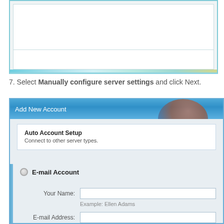[Figure (screenshot): Top portion of a Windows dialog box (cropped), showing empty content area with a light blue/teal gradient border at the bottom.]
7. Select Manually configure server settings and click Next.
[Figure (screenshot): Add New Account dialog showing Auto Account Setup section with E-mail Account radio button selected, and form fields for Your Name and E-mail Address with example placeholder text.]